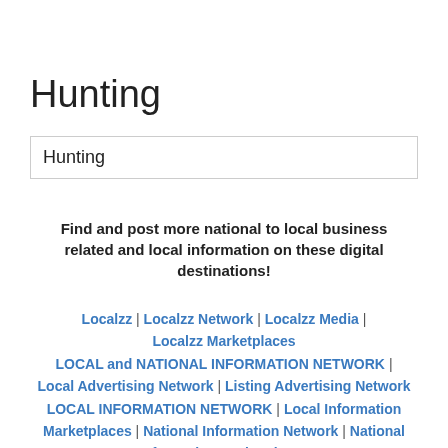Hunting
Hunting
Find and post more national to local business related and local information on these digital destinations!
Localzz | Localzz Network | Localzz Media | Localzz Marketplaces
LOCAL and NATIONAL INFORMATION NETWORK | Local Advertising Network | Listing Advertising Network
LOCAL INFORMATION NETWORK | Local Information Marketplaces | National Information Network | National Information Marketplaces